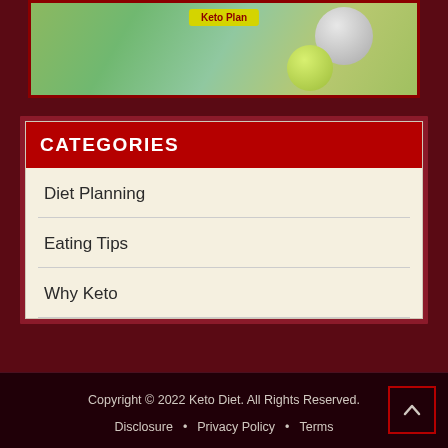[Figure (illustration): Partial view of a Keto Plan promotional image with green circles/bubbles and a yellow 'Keto Plan' button label on a green background]
CATEGORIES
Diet Planning
Eating Tips
Why Keto
Copyright © 2022 Keto Diet. All Rights Reserved.
Disclosure • Privacy Policy • Terms